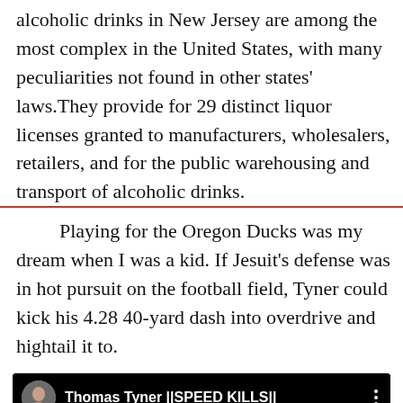alcoholic drinks in New Jersey are among the most complex in the United States, with many peculiarities not found in other states' laws. They provide for 29 distinct liquor licenses granted to manufacturers, wholesalers, retailers, and for the public warehousing and transport of alcoholic drinks.
Playing for the Oregon Ducks was my dream when I was a kid. If Jesuit's defense was in hot pursuit on the football field, Tyner could kick his 4.28 40-yard dash into overdrive and hightail it to.
[Figure (screenshot): YouTube video thumbnail for 'Thomas Tyner ||SPEED KILLS||' showing a blurred crowd scene with football players, a channel avatar in top left, video title, and a play/up button in the lower left.]